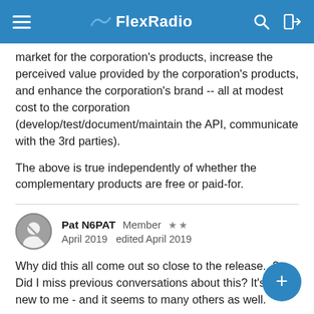FlexRadio
market for the corporation's products, increase the perceived value provided by the corporation's products, and enhance the corporation's brand -- all at modest cost to the corporation (develop/test/document/maintain the API, communicate with the 3rd parties).
The above is true independently of whether the complementary products are free or paid-for.
Pat N6PAT  Member  ★★
April 2019  edited April 2019
Why did this all come out so close to the release...? Did I miss previous conversations about this? It's all new to me - and it seems to many others as well.